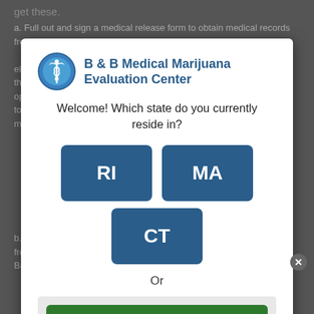get these.
a. Full out and sign a medical release form to obtain medical records from your doctor(s) during... release form electronically (Medical Release Form). After the form is completed, patients have the option of either dropping off the release form to this office, emailing, faxing or even post mailing the form.
[Figure (logo): B & B Medical Marijuana Evaluation Center logo with caduceus symbol]
B & B Medical Marijuana Evaluation Center
Welcome! Which state do you currently reside in?
RI
MA
CT
Or
CBD Products
b. Pick up a physical copy of medical records from your doctor and either bring them to B&B, post mail, email or fax the records over.